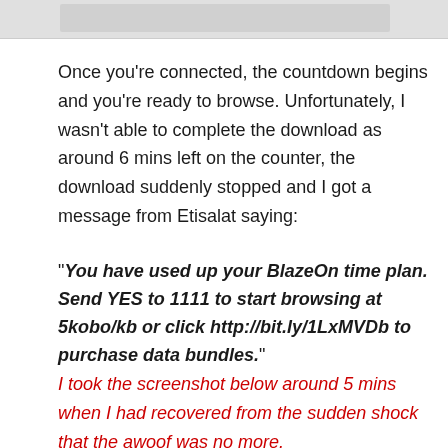[Figure (screenshot): Partial screenshot image strip at top of page]
Once you’re connected, the countdown begins and you’re ready to browse. Unfortunately, I wasn’t able to complete the download as around 6 mins left on the counter, the download suddenly stopped and I got a message from Etisalat saying:
“You have used up your BlazeOn time plan. Send YES to 1111 to start browsing at 5kobo/kb or click http://bit.ly/1LxMVDb to purchase data bundles.”
I took the screenshot below around 5 mins when I had recovered from the sudden shock that the awoof was no more.